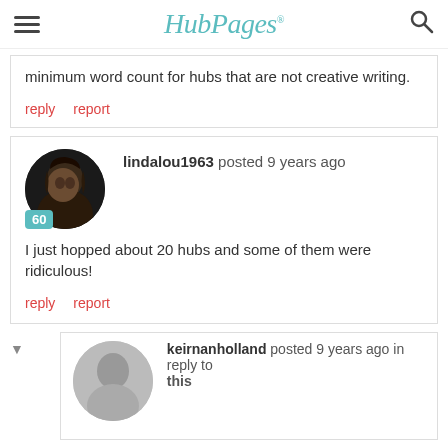HubPages
minimum word count for hubs that are not creative writing.
reply   report
lindalou1963 posted 9 years ago
I just hopped about 20 hubs and some of them were ridiculous!
reply   report
keirnanholland posted 9 years ago in reply to this